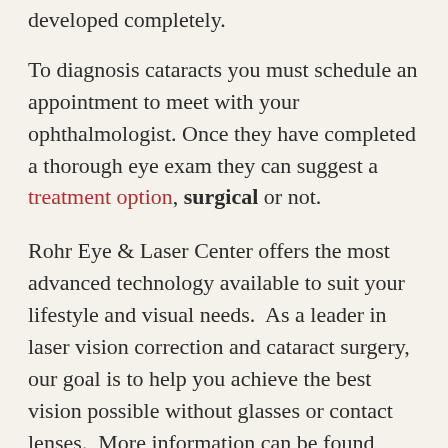developed completely.
To diagnosis cataracts you must schedule an appointment to meet with your ophthalmologist. Once they have completed a thorough eye exam they can suggest a treatment option, surgical or not.
Rohr Eye & Laser Center offers the most advanced technology available to suit your lifestyle and visual needs.  As a leader in laser vision correction and cataract surgery, our goal is to help you achieve the best vision possible without glasses or contact lenses.  More information can be found online at https://michiganlasik.com.